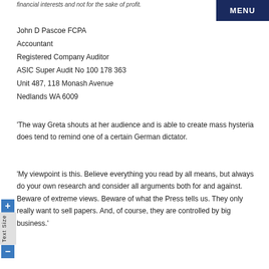financial interests and not for the sake of profit.
[Figure (other): MENU navigation button, dark navy blue background with white bold text]
John D Pascoe FCPA
Accountant
Registered Company Auditor
ASIC Super Audit No 100 178 363
Unit 487, 118 Monash Avenue
Nedlands WA 6009
'The way Greta shouts at her audience and is able to create mass hysteria does tend to remind one of a certain German dictator.
'My viewpoint is this. Believe everything you read by all means, but always do your own research and consider all arguments both for and against. Beware of extreme views. Beware of what the Press tells us. They only really want to sell papers. And, of course, they are controlled by big business.'
[Figure (other): Text Size widget with + and - buttons and vertical label on left side of page]